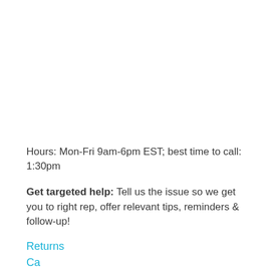Hours: Mon-Fri 9am-6pm EST; best time to call: 1:30pm
Get targeted help: Tell us the issue so we get you to right rep, offer relevant tips, reminders & follow-up!
Returns
Cancela...